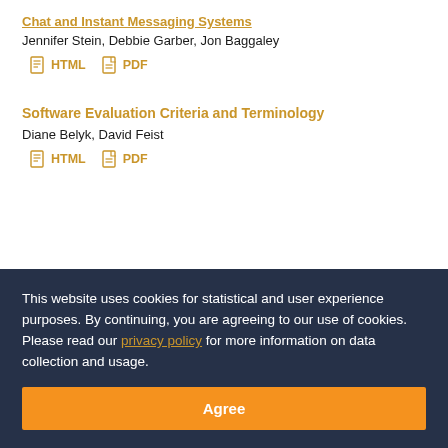Chat and Instant Messaging Systems
Jennifer Stein, Debbie Garber, Jon Baggaley
HTML  PDF
Software Evaluation Criteria and Terminology
Diane Belyk, David Feist
HTML  PDF
This website uses cookies for statistical and user experience purposes. By continuing, you are agreeing to our use of cookies. Please read our privacy policy for more information on data collection and usage.
Agree